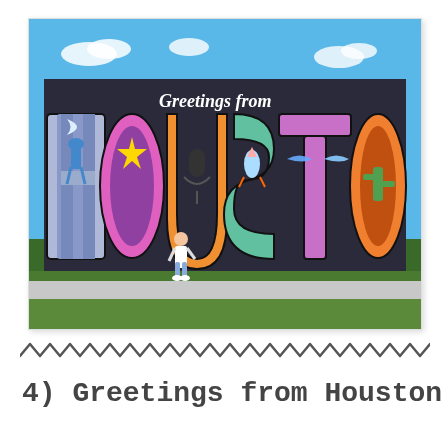[Figure (photo): A colorful 'Greetings from Houston' mural painted on a building wall. Large block letters spell out HOUSTON with vibrant colors and various artwork inside each letter including a cowboy, rocket, and other Houston imagery. A woman stands in front of the mural. There is a grass lawn and sidewalk in the foreground and a blue sky with clouds in the background.]
4) Greetings from Houston